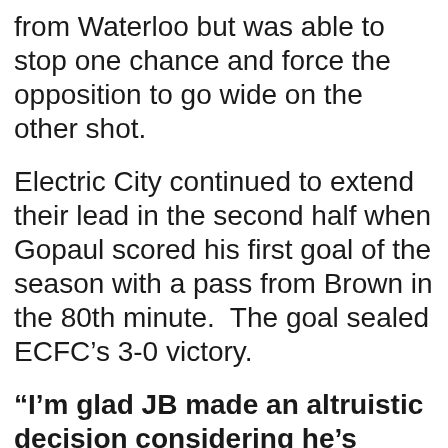from Waterloo but was able to stop one chance and force the opposition to go wide on the other shot.
Electric City continued to extend their lead in the second half when Gopaul scored his first goal of the season with a pass from Brown in the 80th minute.  The goal sealed ECFC’s 3-0 victory.
“I’m glad JB made an altruistic decision considering he’s already scored twice,” Gopaul said.  “He could have gotten a third for the hat-trick but he chose to throw it